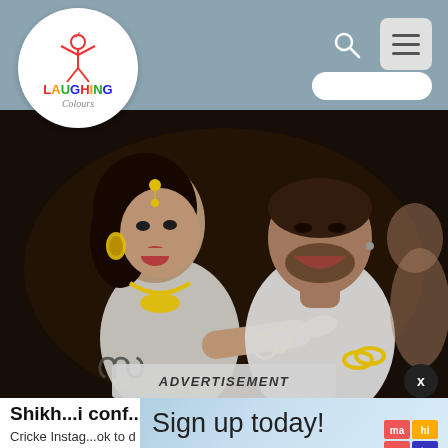Laughing Colours
[Figure (photo): Photo of a woman in traditional Indian jewelry with a tattoo on her arm pointing at a muscular man who is laughing, at a party/event. Dark background.]
ADVERTISEMENT
Shikhar Dhawan confirmed ...i conf...f...
Cricke... Instagram ...ok to d ...